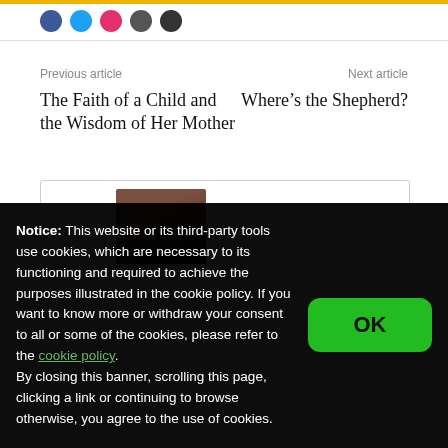[Figure (other): Yellow top bar with social media icons row]
Previous article
Next article
The Faith of a Child and the Wisdom of Her Mother
Where’s the Shepherd?
[Figure (photo): Partially visible content box with a photo thumbnail inside]
Notice: This website or its third-party tools use cookies, which are necessary to its functioning and required to achieve the purposes illustrated in the cookie policy. If you want to know more or withdraw your consent to all or some of the cookies, please refer to the cookie policy.
By closing this banner, scrolling this page, clicking a link or continuing to browse otherwise, you agree to the use of cookies.